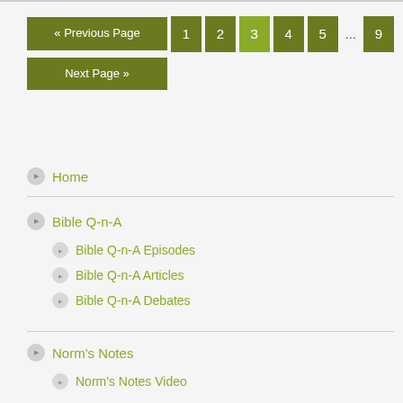« Previous Page  1  2  3  4  5  ...  9  Next Page »
Home
Bible Q-n-A
Bible Q-n-A Episodes
Bible Q-n-A Articles
Bible Q-n-A Debates
Norm's Notes
Norm's Notes Video